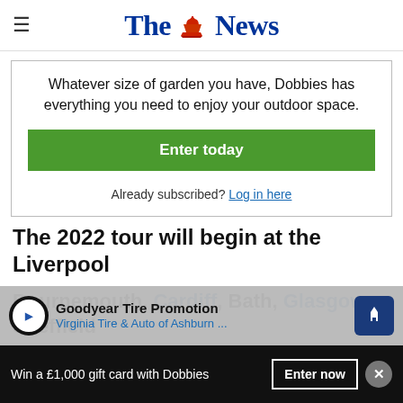The News
Whatever size of garden you have, Dobbies has everything you need to enjoy your outdoor space.
Enter today
Already subscribed? Log in here
The 2022 tour will begin at the Liverpool
[Figure (other): Goodyear Tire Promotion advertisement banner - Virginia Tire & Auto of Ashburn...]
Bournemouth, Cardiff, Bath, Glasgow, Sheffield
Win a £1,000 gift card with Dobbies   Enter now